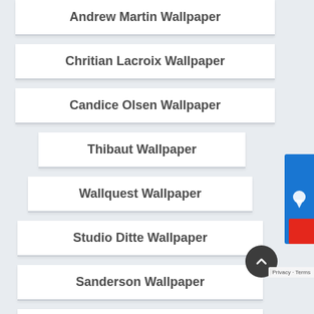Andrew Martin Wallpaper
Chritian Lacroix Wallpaper
Candice Olsen Wallpaper
Thibaut Wallpaper
Wallquest Wallpaper
Studio Ditte Wallpaper
Sanderson Wallpaper
Sophie Conran Wallpaper